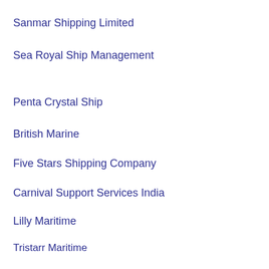Sanmar Shipping Limited
Sea Royal Ship Management
Penta Crystal Ship
British Marine
Five Stars Shipping Company
Carnival Support Services India
Lilly Maritime
Tristarr Maritime
Macaroni Ship Management
Machtrans Ship Management